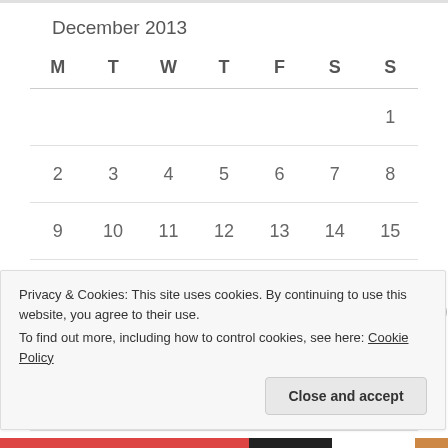December 2013
| M | T | W | T | F | S | S |
| --- | --- | --- | --- | --- | --- | --- |
|  |  |  |  |  |  | 1 |
| 2 | 3 | 4 | 5 | 6 | 7 | 8 |
| 9 | 10 | 11 | 12 | 13 | 14 | 15 |
| 16 | 17 | 18 | 19 | 20 | 21 | 22 |
| 23 | 24 | 25 | 26 | 27 | 28 | 29 |
| 30 | 31 |  |  |  |  |  |
Privacy & Cookies: This site uses cookies. By continuing to use this website, you agree to their use.
To find out more, including how to control cookies, see here: Cookie Policy
Close and accept